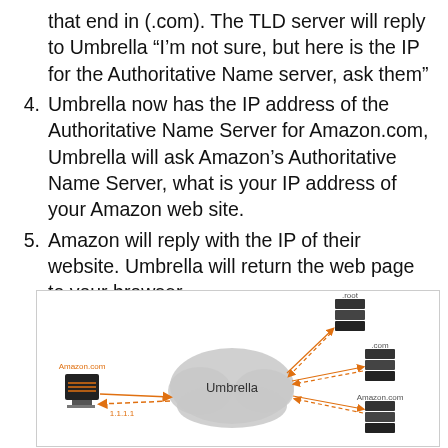that end in (.com). The TLD server will reply to Umbrella “I’m not sure, but here is the IP for the Authoritative Name server, ask them”
4. Umbrella now has the IP address of the Authoritative Name Server for Amazon.com, Umbrella will ask Amazon’s Authoritative Name Server, what is your IP address of your Amazon web site.
5. Amazon will reply with the IP of their website. Umbrella will return the web page to your browser.
[Figure (network-graph): Network diagram showing DNS resolution flow: a computer (Amazon.com / 1.1.1.1) sends a query to Umbrella (cloud), which queries a root server, a .com TLD server, and an Amazon.com authoritative name server, with orange arrows showing request/response flow.]